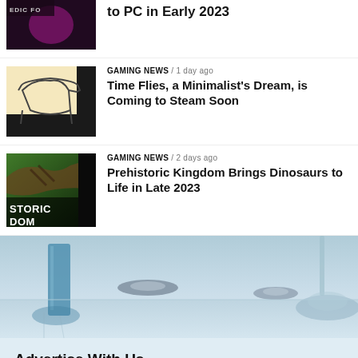[Figure (photo): Partial news thumbnail for first article (dark/purple tones)]
to PC in Early 2023
GAMING NEWS / 1 day ago
[Figure (photo): News thumbnail showing minimalist line-art of a chair on yellow background]
Time Flies, a Minimalist's Dream, is Coming to Steam Soon
GAMING NEWS / 2 days ago
[Figure (photo): News thumbnail showing dinosaur/Prehistoric Kingdom game art with text STORIC DOM]
Prehistoric Kingdom Brings Dinosaurs to Life in Late 2023
[Figure (illustration): Futuristic city scene with flying vehicles and tall glass buildings in blue tones]
Advertise With Us
Unlock a wide range of advertising opportunities with MetaNews to reach the fast-paced meta world.